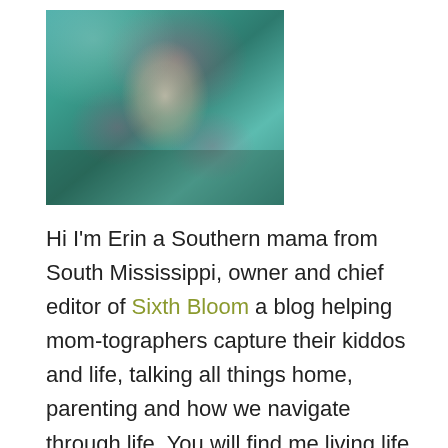[Figure (photo): A woman in a teal/turquoise floral dress with pink flower details, photographed outdoors in a natural setting]
Hi I'm Erin a Southern mama from South Mississippi, owner and chief editor of Sixth Bloom a blog helping mom-tographers capture their kiddos and life, talking all things home, parenting and how we navigate through life. You will find me living life to the fullest with my mister (aka husband) and our little one